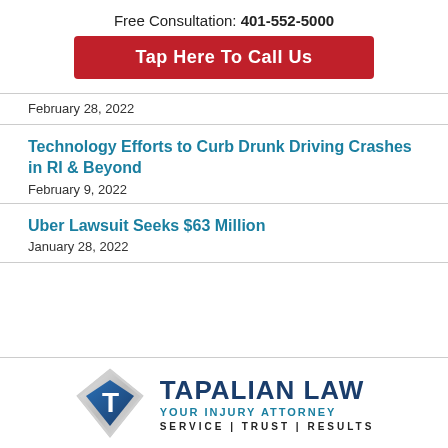Free Consultation: 401-552-5000
Tap Here To Call Us
February 28, 2022
Technology Efforts to Curb Drunk Driving Crashes in RI & Beyond
February 9, 2022
Uber Lawsuit Seeks $63 Million
January 28, 2022
[Figure (logo): Tapalian Law logo with diamond emblem and text: TAPALIAN LAW / YOUR INJURY ATTORNEY / SERVICE | TRUST | RESULTS]